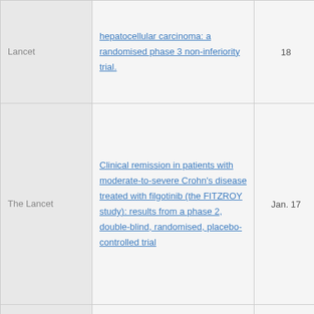| Journal | Title | Date | Reactions |
| --- | --- | --- | --- |
| The Lancet | hepatocellular carcinoma: a randomised phase 3 non-inferiority trial. | 18 |  |
| The Lancet | Clinical remission in patients with moderate-to-severe Crohn's disease treated with filgotinib (the FITZROY study): results from a phase 2, double-blind, randomised, placebo-controlled trial | Jan. 17 | 3 ♥ |
|  | Effect of ileal bile |  |  |